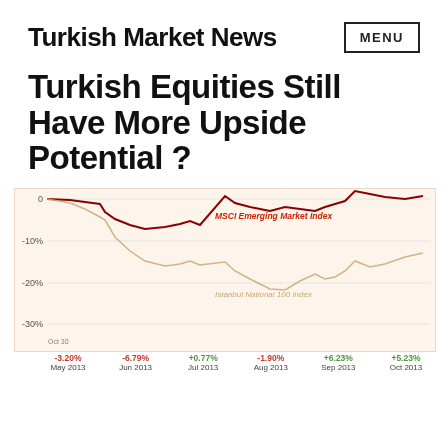Turkish Market News
Turkish Equities Still Have More Upside Potential ?
[Figure (line-chart): MSCI Emerging Market Index vs Istanbul National 100 Index]